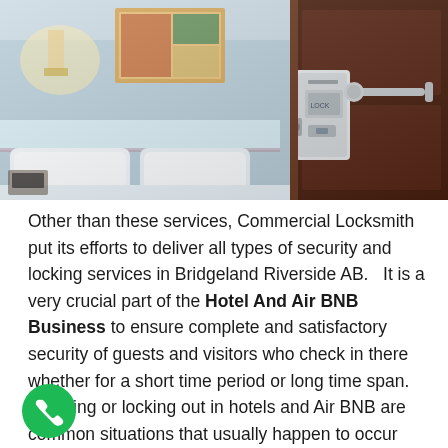[Figure (photo): Hotel room with white bed, wall lamp, headboard visible on left side, and a dark brown door with silver electronic keycard lock and lever handle on the right side in close-up foreground.]
Other than these services, Commercial Locksmith put its efforts to deliver all types of security and locking services in Bridgeland Riverside AB.   It is a very crucial part of the Hotel And Air BNB Business to ensure complete and satisfactory security of guests and visitors who check in there whether for a short time period or long time span. Trapping or locking out in hotels and Air BNB are common situations that usually happen to occur guests and visitors and our Locksmith Services